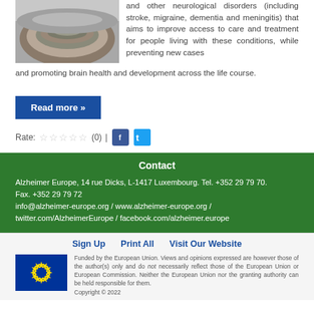[Figure (photo): Aerial view of a large circular assembly hall or conference room]
and other neurological disorders (including stroke, migraine, dementia and meningitis) that aims to improve access to care and treatment for people living with these conditions, while preventing new cases and promoting brain health and development across the life course.
Read more »
Rate: ☆☆☆☆☆ (0) | [Facebook] [Twitter]
Contact
Alzheimer Europe, 14 rue Dicks, L-1417 Luxembourg. Tel. +352 29 79 70. Fax. +352 29 79 72 info@alzheimer-europe.org / www.alzheimer-europe.org / twitter.com/AlzheimerEurope / facebook.com/alzheimer.europe
Sign Up   Print All   Visit Our Website
[Figure (logo): European Union flag - blue background with yellow stars]
Funded by the European Union. Views and opinions expressed are however those of the author(s) only and do not necessarily reflect those of the European Union or European Commission. Neither the European Union nor the granting authority can be held responsible for them. Copyright © 2022